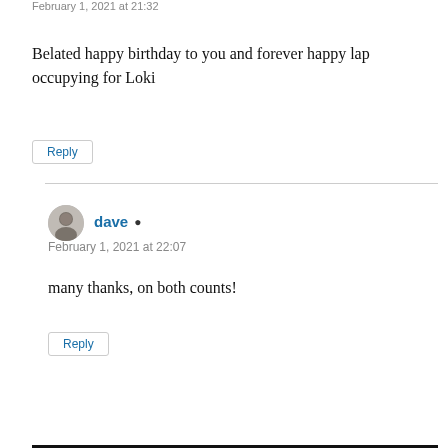February 1, 2021 at 21:32
Belated happy birthday to you and forever happy lap occupying for Loki
Reply
dave ▲
February 1, 2021 at 22:07
many thanks, on both counts!
Reply